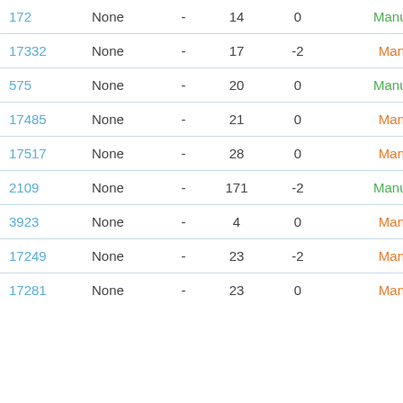| 172 | None | - | 14 | 0 | Manual* |
| 17332 | None | - | 17 | -2 | Manual |
| 575 | None | - | 20 | 0 | Manual* |
| 17485 | None | - | 21 | 0 | Manual |
| 17517 | None | - | 28 | 0 | Manual |
| 2109 | None | - | 171 | -2 | Manual* |
| 3923 | None | - | 4 | 0 | Manual |
| 17249 | None | - | 23 | -2 | Manual |
| 17281 | None | - | 23 | 0 | Manual |